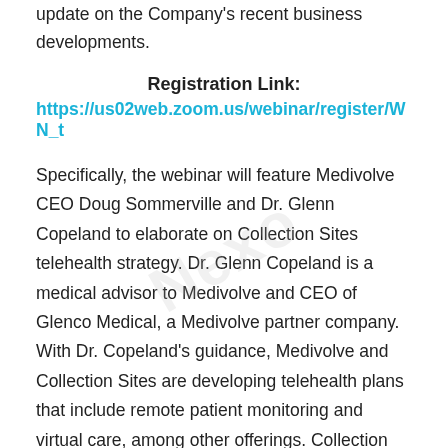update on the Company's recent business developments.
Registration Link:
https://us02web.zoom.us/webinar/register/WN_t
Specifically, the webinar will feature Medivolve CEO Doug Sommerville and Dr. Glenn Copeland to elaborate on Collection Sites telehealth strategy. Dr. Glenn Copeland is a medical advisor to Medivolve and CEO of Glenco Medical, a Medivolve partner company. With Dr. Copeland's guidance, Medivolve and Collection Sites are developing telehealth plans that include remote patient monitoring and virtual care, among other offerings. Collection Sites intends on leveraging its network of sites and large customer database to market these new services and launch a series of